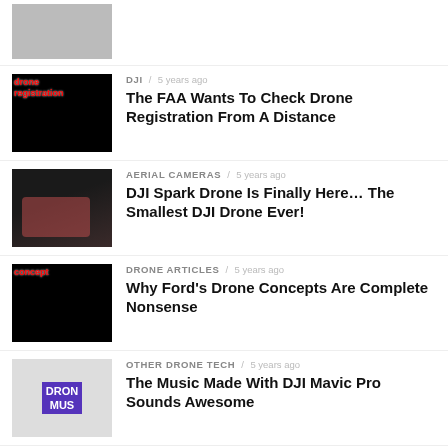[Figure (photo): Thumbnail image of a cat/animal, partially visible at top of page]
DJI / 5 years ago
The FAA Wants To Check Drone Registration From A Distance
AERIAL CAMERAS / 5 years ago
DJI Spark Drone Is Finally Here... The Smallest DJI Drone Ever!
DRONE ARTICLES / 5 years ago
Why Ford's Drone Concepts Are Complete Nonsense
OTHER DRONE TECH / 5 years ago
The Music Made With DJI Mavic Pro Sounds Awesome
ARIFRAMES / 5 years ago
New Land Rover Discovery Has A Search And...